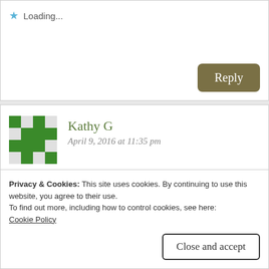Loading...
Reply
Kathy G
April 9, 2016 at 11:35 pm
Cute move, follow the light, wherever it may be. Was admiring how beautifully it was captured in the white frosting and dinnerware.
Privacy & Cookies: This site uses cookies. By continuing to use this website, you agree to their use.
To find out more, including how to control cookies, see here: Cookie Policy
Close and accept